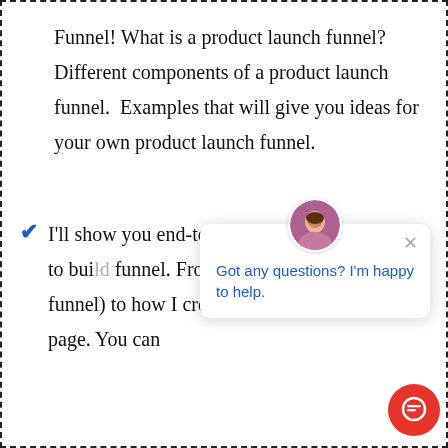Funnel! What is a product launch funnel? Different components of a product launch funnel.  Examples that will give you ideas for your own product launch funnel.
I'll show you end-to-end all the steps required to bui[ld your own] funnel. From ho[w to set up] (that kicks off the funnel) to how I create each individual lesson page. You can
[Figure (screenshot): Chat popup with avatar photo of a woman, close (x) button, and message 'Got any questions? I'm happy to help.' in blue text. Below is a red circular chat button with a speech bubble icon.]